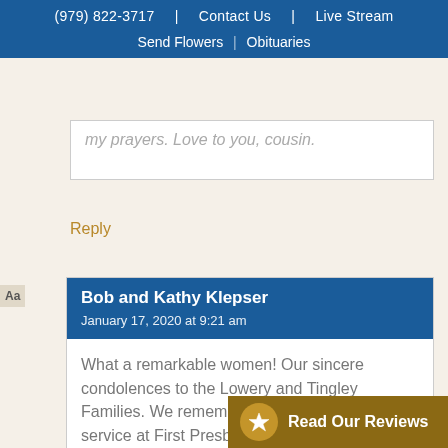(979) 822-3717 | Contact Us | Live Stream | Send Flowers | Obituaries
my prayers. Love to you, cousin.
Reply
Bob and Kathy Klepser
January 17, 2020 at 9:21 am
What a remarkable women! Our sincere condolences to the Lowery and Tingley Families. We remember her well during her service at First Presbyterian Church in Pasa
Read Our Reviews